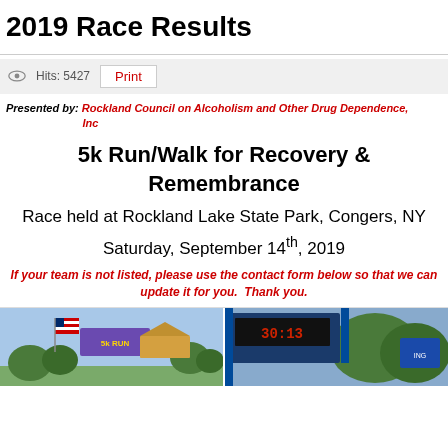2019 Race Results
Hits: 5427   Print
Presented by: Rockland Council on Alcoholism and Other Drug Dependence, Inc
5k Run/Walk for Recovery & Remembrance
Race held at Rockland Lake State Park, Congers, NY
Saturday, September 14th, 2019
If your team is not listed, please use the contact form below so that we can update it for you.  Thank you.
[Figure (photo): Two photos from the 5k race event: left photo shows race start area with an American flag and race banner, right photo shows a race finish line with digital timer display.]